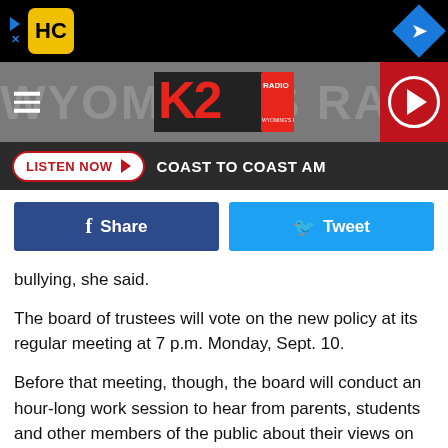[Figure (screenshot): Top ad bar with HC badge logo on left and blue navigation diamond on right, black background]
[Figure (screenshot): K2 Radio website header with hamburger menu, K2 Radio logo center, and red play button on right]
[Figure (screenshot): Dark listen bar with LISTEN NOW button and COAST TO COAST AM text]
[Figure (screenshot): Social share buttons: Facebook Share (dark blue) and Tweet (light blue)]
bullying, she said.
The board of trustees will vote on the new policy at its regular meeting at 7 p.m. Monday, Sept. 10.
Before that meeting, though, the board will conduct an hour-long work session to hear from parents, students and other members of the public about their views on the policy.
The ol
[Figure (screenshot): Bottom ad bar with C logo badge on left and blue navigation diamond on right, light gray background]